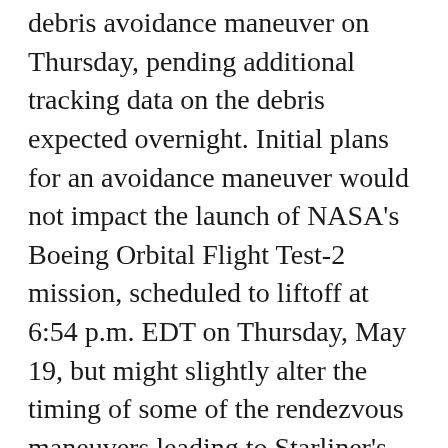debris avoidance maneuver on Thursday, pending additional tracking data on the debris expected overnight. Initial plans for an avoidance maneuver would not impact the launch of NASA's Boeing Orbital Flight Test-2 mission, scheduled to liftoff at 6:54 p.m. EDT on Thursday, May 19, but might slightly alter the timing of some of the rendezvous maneuvers leading to Starliner's docking to the station. The crew began its sleep shift as scheduled and will resume preparations for the Friday arrival of OFT-2 when it awakens about 2 a.m. Thursday.
Boeing's Starliner crew ship sits atop the Atlas-V rocket from United Launch Alliance counting down to its launch from Florida to the